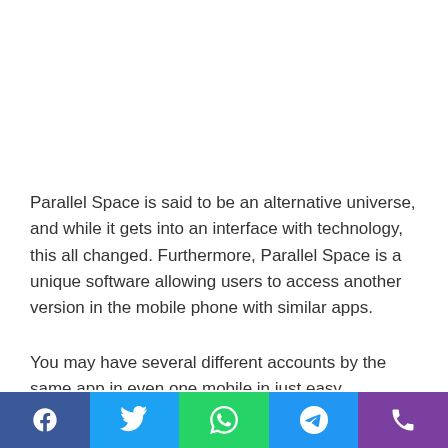Parallel Space is said to be an alternative universe, and while it gets into an interface with technology, this all changed. Furthermore, Parallel Space is a unique software allowing users to access another version in the mobile phone with similar apps.
You may have several different accounts by the same app in even one mobile in just easy meanings. However, It acts as copying software in which a copy from the same